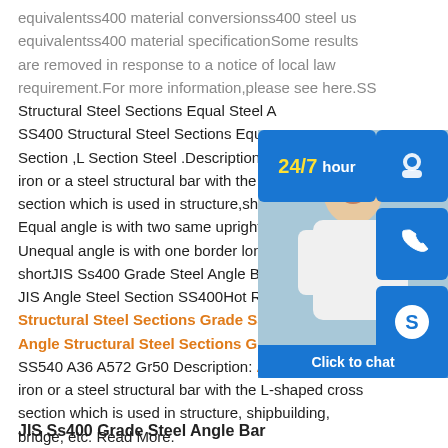equivalentss400 material conversionss400 steel us equivalentss400 material specificationSome results are removed in response to a notice of local law requirement.For more information,please see here.SS400 Structural Steel Sections Equal Steel A SS400 Structural Steel Sections Equal Section ,L Section Steel .Description A iron or a steel structural bar with the L-section which is used in structure,ship Equal angle is with two same uprightness Unequal angle is with one border long shortJIS Ss400 Grade Steel Angle Bar JIS Angle Steel Section SS400Hot Ro Structural Steel Sections Grade SS400. Hot Rolled Angle Structural Steel Sections Grade SS400 SS540 A36 A572 Gr50 Description: Angle Steel is an iron or a steel structural bar with the L-shaped cross section which is used in structure, shipbuilding, bridge, etc. Read More.
[Figure (photo): 24/7 hour customer service chat widget with photo of smiling customer service representative, phone icon, Skype icon, and Click to chat button]
JIS Ss400 Grade Steel Angle Bar